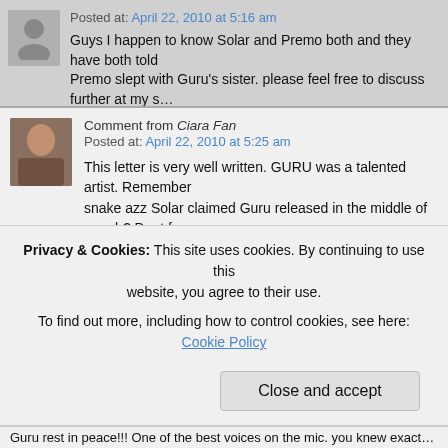Posted at: April 22, 2010 at 5:16 am
Guys I happen to know Solar and Premo both and they have both told… Premo slept with Guru's sister. please feel free to discuss further at my s…
Reply
Comment from Ciara Fan
Posted at: April 22, 2010 at 5:25 am
This letter is very well written. GURU was a talented artist. Remember… snake azz Solar claimed Guru released in the middle of march? Dont fo…
it said:
"I am doing fine and I am recovering! I'm weak though. Solar is the only… accurate info on my situation. Any info from anybody else is false! I appr… and all the love!"
Highly suspect! THE DUDE WAS IN A COMA IN MARCH!!! I read on a m… CNA who was cleaning up GURU said he was in a coma the entire mont… back to post the link to the message board, i cant find it…gotta search fo…
sidenote, please support Ciara and her new RIDE video, thats a bad bis…
Privacy & Cookies: This site uses cookies. By continuing to use this website, you agree to their use.
To find out more, including how to control cookies, see here: Cookie Policy
Close and accept
Guru rest in peace!!! One of the best voices on the mic. you knew exact…